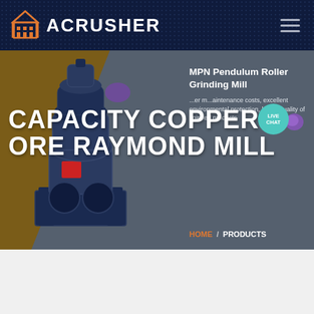ACRUSHER
[Figure (screenshot): ACrusher website hero section showing a Raymond mill grinding machine on a brown/olive diagonal background with grey right panel]
CAPACITY COPPER ORE RAYMOND MILL
MPN Pendulum Roller Grinding Mill
lower maintenance costs, excellent environmental protection, better quality of finished products
HOME / PRODUCTS